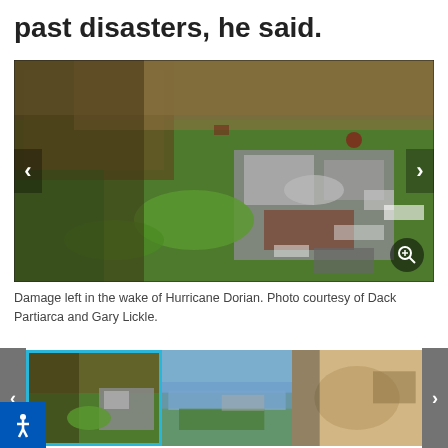past disasters, he said.
[Figure (photo): Aerial view of damage left in the wake of Hurricane Dorian, showing destroyed structures, debris, and downed trees on green land.]
Damage left in the wake of Hurricane Dorian. Photo courtesy of Dack Partiarca and Gary Lickle.
[Figure (photo): Thumbnail gallery showing three images: first is the aerial Hurricane Dorian damage photo (active/selected with blue border), second shows flooding and debris, third shows a sandy or dusty car window interior.]